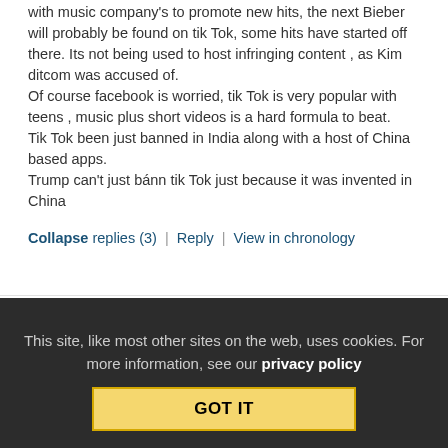Tik Tok is the new YouTube at least for young people, it works with music company's to promote new hits, the next Bieber will probably be found on tik Tok, some hits have started off there. Its not being used to host infringing content , as Kim ditcom was accused of.
Of course facebook is worried, tik Tok is very popular with teens , music plus short videos is a hard formula to beat.
Tik Tok been just banned in India along with a host of China based apps.
Trump can't just bánn tik Tok just because it was invented in China
Collapse replies (3) | Reply | View in chronology
[Figure (infographic): Row of 5 icons: lightbulb, laughing face emoji, speech bubble with quote marks, speech bubble with quote marks, flag]
This site, like most other sites on the web, uses cookies. For more information, see our privacy policy
GOT IT